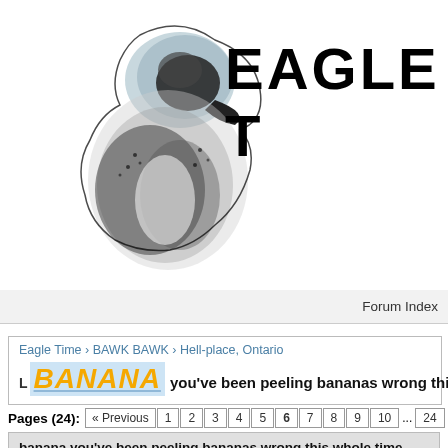[Figure (logo): Eagle Time forum logo: pixelated/dithered eagle head facing right, with large bold text EAGLE T (truncated) to the right]
Forum Index
Eagle Time › BAWK BAWK › Hell-place, Ontario
BANANA you've been peeling bananas wrong this who
Pages (24): « Previous 1 2 3 4 5 6 7 8 9 10 ... 24
banana you've been peeling bananas wrong this whole time
| Author | Post |
| --- | --- |
| Reyweld
Your Friend in the Archives | RE: you've been peeling bananas wrong
02-16-2017, 12:22 AM
it turns out you're supposed to use a che |